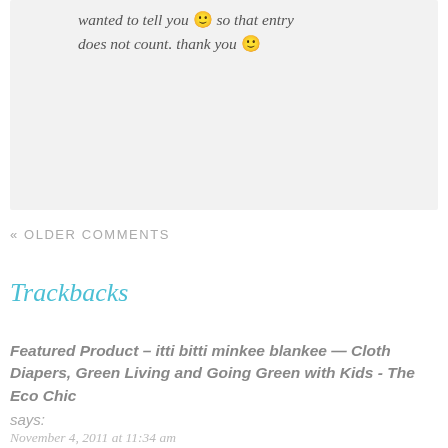wanted to tell you 🙂 so that entry does not count. thank you 🙂
« OLDER COMMENTS
Trackbacks
Featured Product – itti bitti minkee blankee — Cloth Diapers, Green Living and Going Green with Kids - The Eco Chic says:
November 4, 2011 at 11:34 am
[…] you have an itti bitti cloth diaper in your stash yet?  The first thing you notice about these diapers is the minkee fabric.